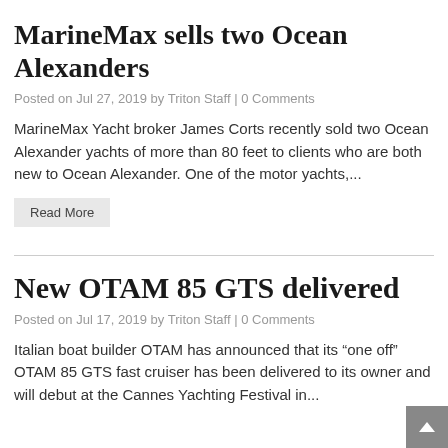MarineMax sells two Ocean Alexanders
Posted on Jul 27, 2019 by Triton Staff | 0 Comments
MarineMax Yacht broker James Corts recently sold two Ocean Alexander yachts of more than 80 feet to clients who are both new to Ocean Alexander. One of the motor yachts,...
Read More
New OTAM 85 GTS delivered
Posted on Jul 17, 2019 by Triton Staff | 0 Comments
Italian boat builder OTAM has announced that its “one off” OTAM 85 GTS fast cruiser has been delivered to its owner and will debut at the Cannes Yachting Festival in...